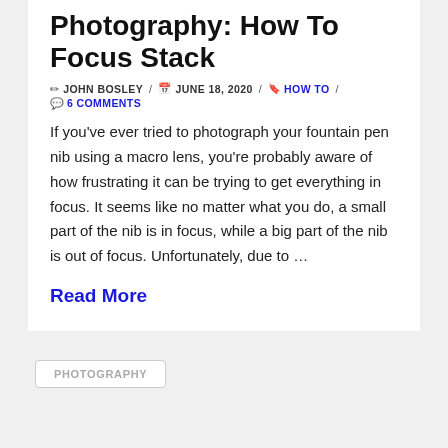Photography: How To Focus Stack
✏ JOHN BOSLEY / 📅 JUNE 18, 2020 / HOW TO / 💬 6 COMMENTS
If you've ever tried to photograph your fountain pen nib using a macro lens, you're probably aware of how frustrating it can be trying to get everything in focus. It seems like no matter what you do, a small part of the nib is in focus, while a big part of the nib is out of focus. Unfortunately, due to …
Read More
PHOTOGRAPHY